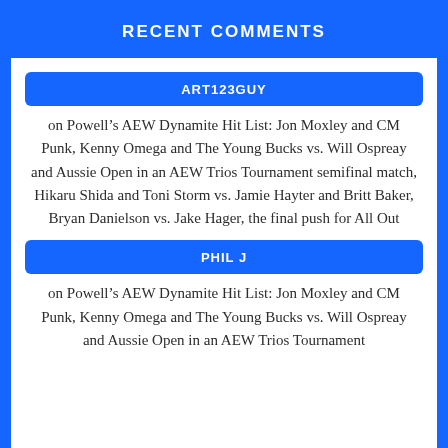RECENT COMMENTS
ART123GUY
on Powell's AEW Dynamite Hit List: Jon Moxley and CM Punk, Kenny Omega and The Young Bucks vs. Will Ospreay and Aussie Open in an AEW Trios Tournament semifinal match, Hikaru Shida and Toni Storm vs. Jamie Hayter and Britt Baker, Bryan Danielson vs. Jake Hager, the final push for All Out
PHIL J
on Powell's AEW Dynamite Hit List: Jon Moxley and CM Punk, Kenny Omega and The Young Bucks vs. Will Ospreay and Aussie Open in an AEW Trios Tournament